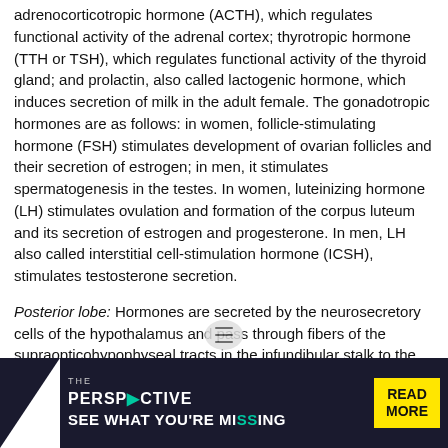adrenocorticotropic hormone (ACTH), which regulates functional activity of the adrenal cortex; thyrotropic hormone (TTH or TSH), which regulates functional activity of the thyroid gland; and prolactin, also called lactogenic hormone, which induces secretion of milk in the adult female. The gonadotropic hormones are as follows: in women, follicle-stimulating hormone (FSH) stimulates development of ovarian follicles and their secretion of estrogen; in men, it stimulates spermatogenesis in the testes. In women, luteinizing hormone (LH) stimulates ovulation and formation of the corpus luteum and its secretion of estrogen and progesterone. In men, LH also called interstitial cell-stimulation hormone (ICSH), stimulates testosterone secretion.
Posterior lobe: Hormones are secreted by the neurosecretory cells of the hypothalamus and pass through fibers of the supraopticohypophyseal tracts in the infundibular stalk to the neurohypophysis, where they are stored. Secretions here are oxytocin, which acts specifically on smooth muscle of the uterus, increasing tone and contractility, and antidiuretic hormone (ADH), which increases reabsorption of water by the kidney tubules. In large amounts, ADH also causes vasoconstriction, and is also called vasopressin.
[Figure (other): Advertisement banner: THE PERSPECTIVE - SEE WHAT YOU'RE MISSING - READ MORE]